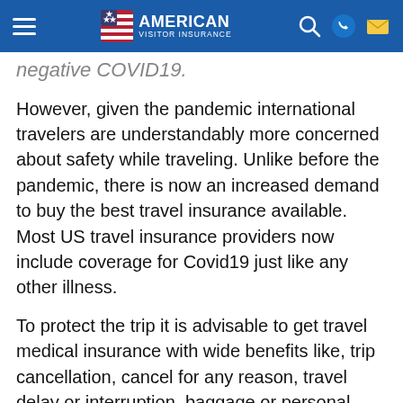American Visitor Insurance
negative COVID19.
However, given the pandemic international travelers are understandably more concerned about safety while traveling. Unlike before the pandemic, there is now an increased demand to buy the best travel insurance available. Most US travel insurance providers now include coverage for Covid19 just like any other illness.
To protect the trip it is advisable to get travel medical insurance with wide benefits like, trip cancellation, cancel for any reason, travel delay or interruption, baggage or personal belongings loss, medical expenses of COVID19, emergency medical evacuation and repatriation etc...